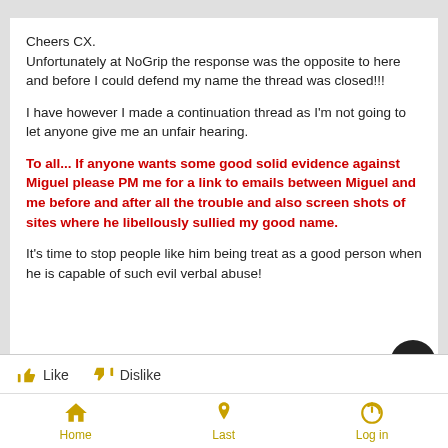Cheers CX.
Unfortunately at NoGrip the response was the opposite to here and before I could defend my name the thread was closed!!!
I have however I made a continuation thread as I'm not going to let anyone give me an unfair hearing.
To all... If anyone wants some good solid evidence against Miguel please PM me for a link to emails between Miguel and me before and after all the trouble and also screen shots of sites where he libellously sullied my good name.
It's time to stop people like him being treat as a good person when he is capable of such evil verbal abuse!
Like   Dislike
Home   Last   Log in